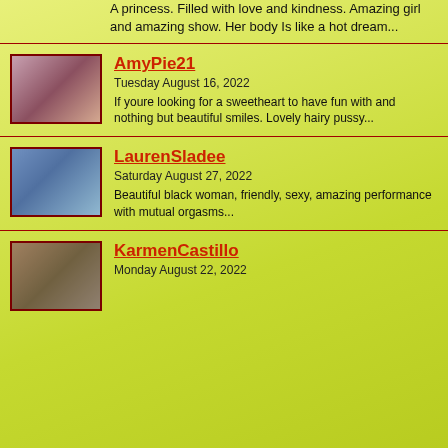A princess. Filled with love and kindness. Amazing girl and amazing show. Her body Is like a hot dream...
[Figure (photo): Photo of AmyPie21]
AmyPie21
Tuesday August 16, 2022
If youre looking for a sweetheart to have fun with and nothing but beautiful smiles. Lovely hairy pussy...
[Figure (photo): Photo of LaurenSladee]
LaurenSladee
Saturday August 27, 2022
Beautiful black woman, friendly, sexy, amazing performance with mutual orgasms...
[Figure (photo): Photo of KarmenCastillo]
KarmenCastillo
Monday August 22, 2022